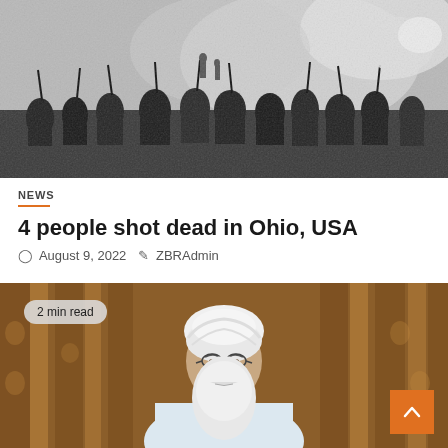[Figure (photo): Black and white historical photo of soldiers or riot police gathered in a smoky outdoor scene]
NEWS
4 people shot dead in Ohio, USA
August 9, 2022   ZBRAdmin
[Figure (photo): Color photo of an elderly bearded man with white turban and white robe, seated in front of ornate curtains. Badge reads: 2 min read]